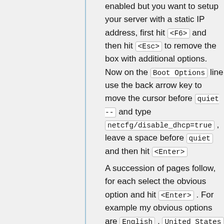enabled but you want to setup your server with a static IP address, first hit <F6> and then hit <Esc> to remove the box with additional options. Now on the Boot Options line use the back arrow key to move the cursor before quiet -- and type netcfg/disable_dhcp=true , leave a space before quiet and then hit <Enter>
4. A succession of pages follow, for each select the obvious option and hit <Enter> . For example my obvious options are English , United States , <No> , USA and USA